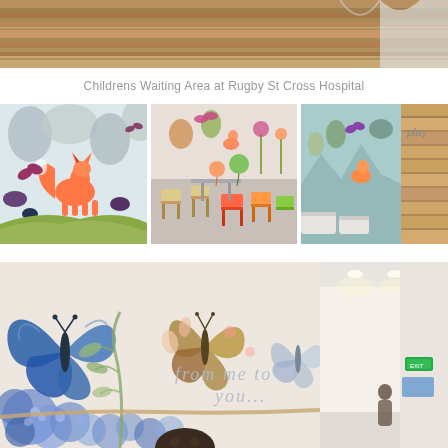[Figure (photo): Top partial photo showing wooden ceiling/structure at a hospital]
Childrens Waiting Area at Rugby St Cross Hospital
[Figure (photo): Three photos side by side: left shows colorful wall mural with orange fox and woodland creatures; center shows children's waiting area with colorful chairs and balloon decorations; right shows play area with wooden slatted wall panel and word 'play', colorful mural with fox in background]
[Figure (photo): Large photo of hospital corridor with large butterfly and floral mural on left wall, text 'from me to you' painted on wall, child's head visible at bottom, hallway extending to the right with recessed lighting]